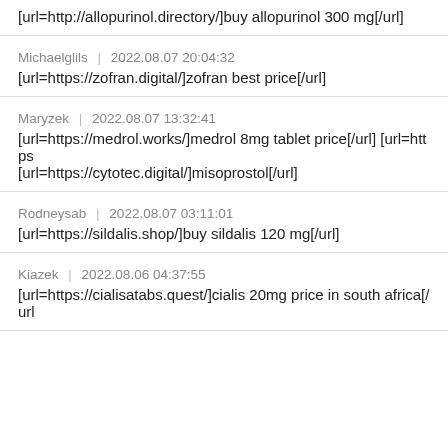[url=http://allopurinol.directory/]buy allopurinol 300 mg[/url]
Michaelglils | 2022.08.07 20:04:32
[url=https://zofran.digital/]zofran best price[/url]
Maryzek | 2022.08.07 13:32:41
[url=https://medrol.works/]medrol 8mg tablet price[/url] [url=https [url=https://cytotec.digital/]misoprostol[/url]
Rodneysab | 2022.08.07 03:11:01
[url=https://sildalis.shop/]buy sildalis 120 mg[/url]
Kiazek | 2022.08.06 04:37:55
[url=https://cialisatabs.quest/]cialis 20mg price in south africa[/url